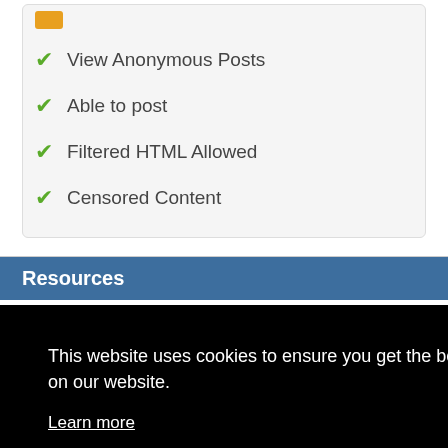✔ View Anonymous Posts
✔ Able to post
✔ Filtered HTML Allowed
✔ Censored Content
Resources
This website uses cookies to ensure you get the best experience on our website.
Learn more
Got it!
Wiki Docs